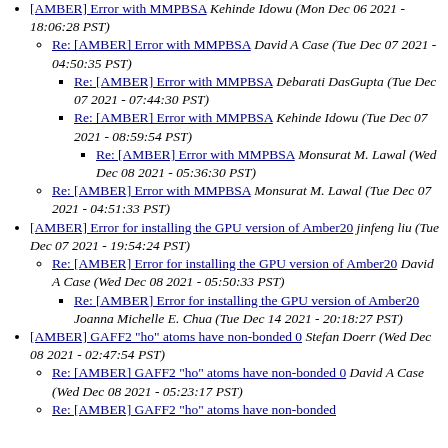[AMBER] Error with MMPBSA Kehinde Idowu (Mon Dec 06 2021 - 18:06:28 PST)
Re: [AMBER] Error with MMPBSA David A Case (Tue Dec 07 2021 - 04:50:35 PST)
Re: [AMBER] Error with MMPBSA Debarati DasGupta (Tue Dec 07 2021 - 07:44:30 PST)
Re: [AMBER] Error with MMPBSA Kehinde Idowu (Tue Dec 07 2021 - 08:59:54 PST)
Re: [AMBER] Error with MMPBSA Monsurat M. Lawal (Wed Dec 08 2021 - 05:36:30 PST)
Re: [AMBER] Error with MMPBSA Monsurat M. Lawal (Tue Dec 07 2021 - 04:51:33 PST)
[AMBER] Error for installing the GPU version of Amber20 jinfeng liu (Tue Dec 07 2021 - 19:54:24 PST)
Re: [AMBER] Error for installing the GPU version of Amber20 David A Case (Wed Dec 08 2021 - 05:50:33 PST)
Re: [AMBER] Error for installing the GPU version of Amber20 Joanna Michelle E. Chua (Tue Dec 14 2021 - 20:18:27 PST)
[AMBER] GAFF2 "ho" atoms have non-bonded 0 Stefan Doerr (Wed Dec 08 2021 - 02:47:54 PST)
Re: [AMBER] GAFF2 "ho" atoms have non-bonded 0 David A Case (Wed Dec 08 2021 - 05:23:17 PST)
Re: [AMBER] GAFF2 "ho" atoms have non-bonded